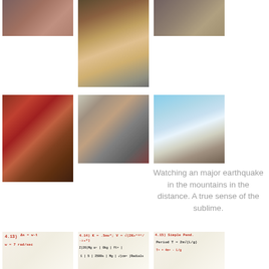[Figure (photo): People gathered around a table with food]
[Figure (photo): Close-up of food trays and dishes]
[Figure (photo): People sitting at a table with food and drinks]
[Figure (photo): Chocolate-covered strawberries and baked goods in containers]
[Figure (photo): Students in a classroom or lab setting]
[Figure (photo): View from a car of mountains and road]
Watching an major earthquake in the mountains in the distance. A true sense of the sublime.
[Figure (photo): Handwritten physics notes: 4.13, delta-s = w*t, w = 7 rad/sec]
[Figure (photo): Handwritten physics notes: 4.14, K = .5mv^2, V = sqrt(2K+1gp/-2mg), table with values]
[Figure (photo): Handwritten physics notes: 4.15, Simple Pendulum, Period T = 2*pi*sqrt(L/g)]